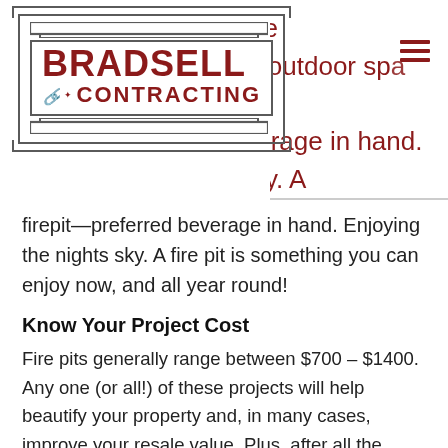[Figure (logo): Bradsell Contracting logo with red text on white background inside a bordered box with cornice top]
say more? Fire pits are the focal point of your outdoor space. Sit next to your new firepit, preferred beverage in hand. Enjoying the nights sky. A fire pit is something you can enjoy now, and all year round!
Know Your Project Cost
Fire pits generally range between $700 – $1400. Any one (or all!) of these projects will help beautify your property and, in many cases, improve your resale value. Plus, after all the snow we got this winter, everyone will be looking forward to enjoying some time outside, relaxing in the sun! If you're looking to extend your outdoor living space, reach out to us with your project! We offer free estimates for all your building needs.
**Project costs are based on national averages, all prices are subject to change due to materials selection, labor cost, and